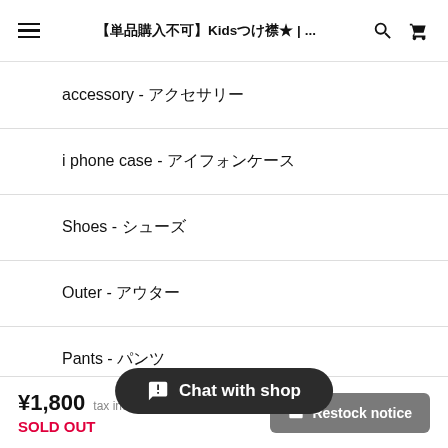【単品購入不可】Kidsつけ襟★ | ...
accessory - アクセサリー
i phone case - アイフォンケース
Shoes - シューズ
Outer - アウター
Pants - パンツ
Knit - ニット
Chat with shop
¥1,800 tax included SOLD OUT  Restock notice